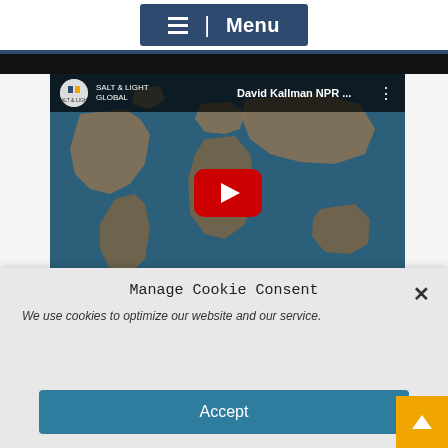[Figure (screenshot): Navigation menu button with hamburger icon and 'Menu' label on a dark blue background]
[Figure (screenshot): YouTube video thumbnail showing 'David Kallman NPR ...' title with a world map background and red play button. Salt & Light Global channel logo visible.]
Manage Cookie Consent
We use cookies to optimize our website and our service.
Accept